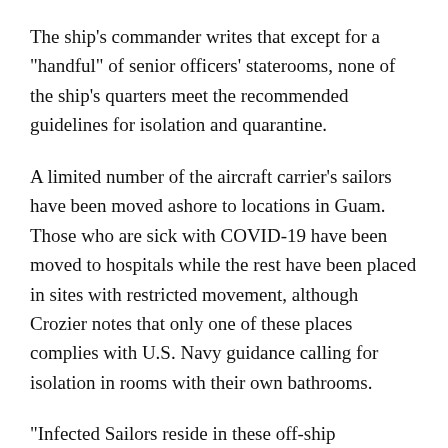The ship's commander writes that except for a "handful" of senior officers' staterooms, none of the ship's quarters meet the recommended guidelines for isolation and quarantine.
A limited number of the aircraft carrier's sailors have been moved ashore to locations in Guam. Those who are sick with COVID-19 have been moved to hospitals while the rest have been placed in sites with restricted movement, although Crozier notes that only one of these places complies with U.S. Navy guidance calling for isolation in rooms with their own bathrooms.
"Infected Sailors reside in these off-ship locations," he writes in the letter, which was first reported by the San Francisco Chronicle. "To... Sailors who are placed at positions in...